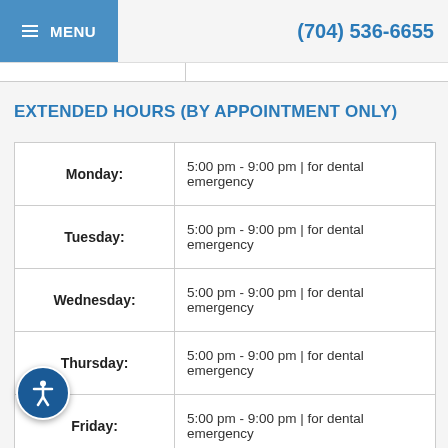≡ MENU  (704) 536-6655
EXTENDED HOURS (BY APPOINTMENT ONLY)
| Day | Hours |
| --- | --- |
| Monday: | 5:00 pm - 9:00 pm  |  for dental emergency |
| Tuesday: | 5:00 pm - 9:00 pm  |  for dental emergency |
| Wednesday: | 5:00 pm - 9:00 pm  |  for dental emergency |
| Thursday: | 5:00 pm - 9:00 pm  |  for dental emergency |
| Friday: | 5:00 pm - 9:00 pm  |  for dental emergency |
| Saturday: | 5:00 pm - 9:00 pm  |  for dental emergency |